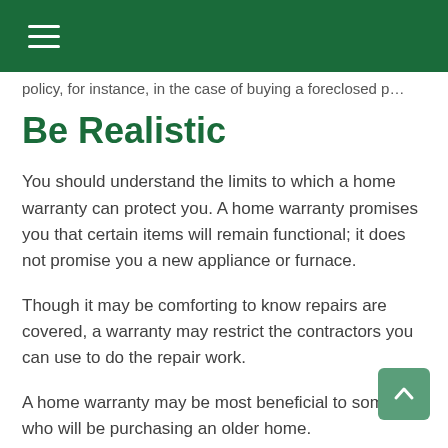policy, for instance, in the case of buying a foreclosed p…
Be Realistic
You should understand the limits to which a home warranty can protect you. A home warranty promises you that certain items will remain functional; it does not promise you a new appliance or furnace.
Though it may be comforting to know repairs are covered, a warranty may restrict the contractors you can use to do the repair work.
A home warranty may be most beneficial to someone who will be purchasing an older home.
If you elect to buy a home warranty, make sure you work with a reputable company that has a long…